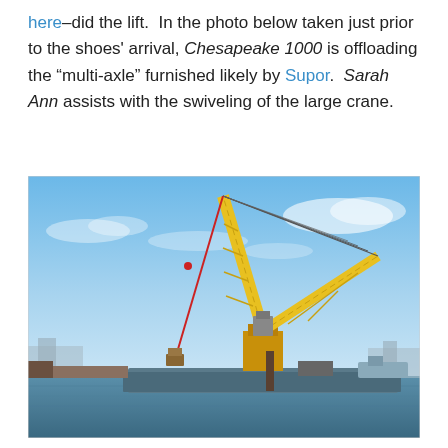here–did the lift.  In the photo below taken just prior to the shoes' arrival, Chesapeake 1000 is offloading the "multi-axle" furnished likely by Supor.  Sarah Ann assists with the swiveling of the large crane.
[Figure (photo): Photo of a large floating crane barge (Chesapeake 1000) with a tall yellow lattice boom and red hook/block suspended from a cable, operating on a body of water with port infrastructure in the background and blue sky overhead.]